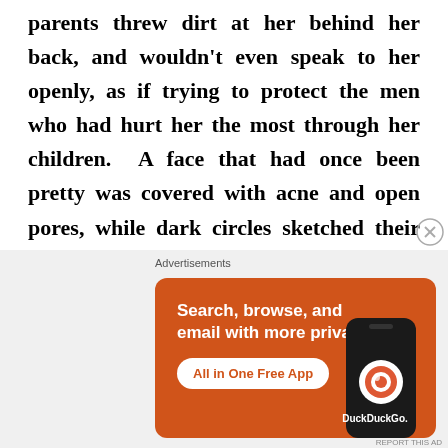parents threw dirt at her behind her back, and wouldn't even speak to her openly, as if trying to protect the men who had hurt her the most through her children.  A face that had once been pretty was covered with acne and open pores, while dark circles sketched their way around her tired eyes.
[Figure (other): DuckDuckGo advertisement banner with orange background showing 'Search, browse, and email with more privacy. All in One Free App' text with a phone mockup and DuckDuckGo logo]